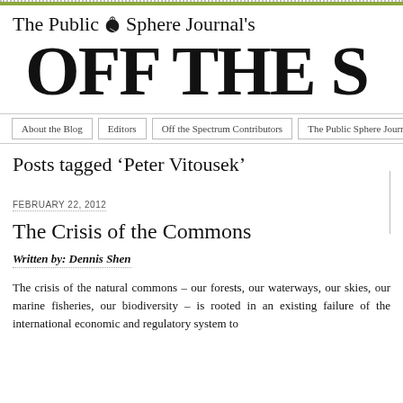The Public Sphere Journal's OFF THE S
About the Blog | Editors | Off the Spectrum Contributors | The Public Sphere Journal
Posts tagged ‘Peter Vitousek’
FEBRUARY 22, 2012
The Crisis of the Commons
Written by: Dennis Shen
The crisis of the natural commons – our forests, our waterways, our skies, our marine fisheries, our biodiversity – is rooted in an existing failure of the international economic and regulatory system to